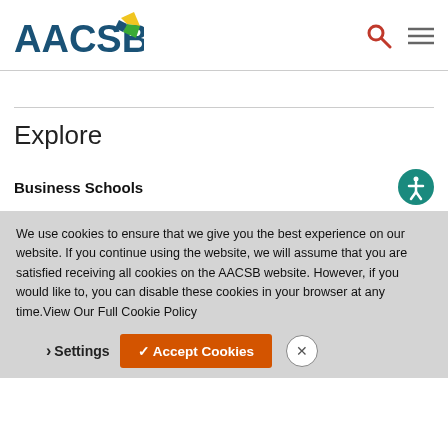[Figure (logo): AACSB logo with teal/green and yellow leaf graphic]
Explore
Business Schools
We use cookies to ensure that we give you the best experience on our website. If you continue using the website, we will assume that you are satisfied receiving all cookies on the AACSB website. However, if you would like to, you can disable these cookies in your browser at any time.View Our Full Cookie Policy